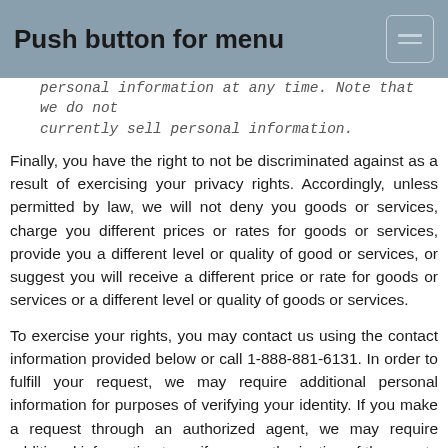Push button for menu
personal information at any time. Note that we do not currently sell personal information.
Finally, you have the right to not be discriminated against as a result of exercising your privacy rights. Accordingly, unless permitted by law, we will not deny you goods or services, charge you different prices or rates for goods or services, provide you a different level or quality of good or services, or suggest you will receive a different price or rate for goods or services or a different level or quality of goods or services.
To exercise your rights, you may contact us using the contact information provided below or call 1-888-881-6131. In order to fulfill your request, we may require additional personal information for purposes of verifying your identity. If you make a request through an authorized agent, we may require additional information to verify your authorization of the agent.